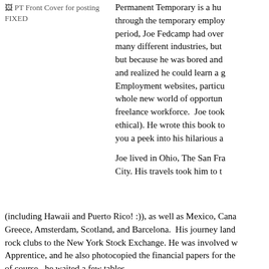[Figure (photo): PT Front Cover for posting FIXED - book cover image placeholder]
Permanent Temporary is a hu... through the temporary employ... period, Joe Fedcamp had over... many different industries, but... but because he was bored and... and realized he could learn a g... Employment websites, particu... whole new world of opportun... freelance workforce. Joe took... ethical). He wrote this book to... you a peek into his hilarious a...
Joe lived in Ohio, The San Fra... City. His travels took him to t... (including Hawaii and Puerto Rico! :)), as well as Mexico, Cana... Greece, Amsterdam, Scotland, and Barcelona. His journey land... rock clubs to the New York Stock Exchange. He was involved w... Apprentice, and he also photocopied the financial papers for the... of course, he waited a few tables.